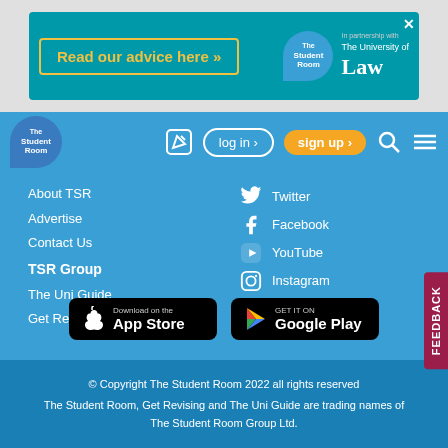[Figure (screenshot): Advertisement banner for The University of Law in partnership with The Student Room. Teal background with 'Read our advice here »' button in gold border and TSR/University of Law logos.]
[Figure (screenshot): Navigation bar with The Student Room logo bubble, edit icon, log in button, sign up button (orange), search icon, and hamburger menu on blue background.]
About TSR
Advertise
Contact Us
TSR Group
The Uni Guide
Get Revising
Twitter
Facebook
YouTube
Instagram
TikTok
[Figure (logo): Download on the App Store badge (black)]
[Figure (logo): Get it on Google Play badge (black)]
© Copyright The Student Room 2022 all rights reserved
The Student Room, Get Revising and The Uni Guide are trading names of The Student Room Group Ltd.